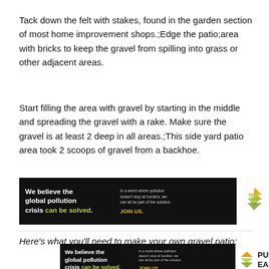Tack down the felt with stakes, found in the garden section of most home improvement shops.;Edge the patio;area with bricks to keep the gravel from spilling into grass or other adjacent areas.
Start filling the area with gravel by starting in the middle and spreading the gravel with a rake. Make sure the gravel is at least 2 deep in all areas.;This side yard patio area took 2 scoops of gravel from a backhoe.
[Figure (infographic): Pure Earth advertisement banner on black background: 'We believe the global pollution crisis can be solved.' with JOIN US call to action and Pure Earth logo]
Here's what you'll need to make your own gravel patio:
[Figure (infographic): Pure Earth advertisement banner (second instance) on black background with PURE EARTH text and logo]